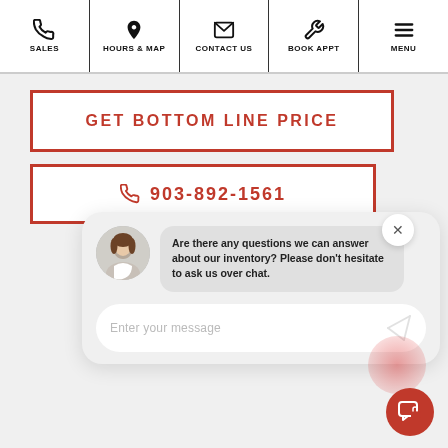SALES | HOURS & MAP | CONTACT US | BOOK APPT | MENU
GET BOTTOM LINE PRICE
903-892-1561
[Figure (screenshot): Chat widget with avatar of a woman and message bubble: 'Are there any questions we can answer about our inventory? Please don't hesitate to ask us over chat.' and an input field saying 'Enter your message' with a send icon, plus a red chat FAB button at bottom right.]